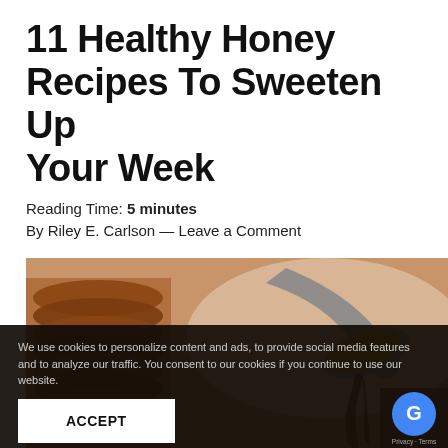11 Healthy Honey Recipes To Sweeten Up Your Week
Reading Time: 5 minutes
By Riley E. Carlson — Leave a Comment
[Figure (photo): A spoon drizzling dark honey, with stacked terracotta bowls in the background on the left]
We use cookies to personalize content and ads, to provide social media features and to analyze our traffic. You consent to our cookies if you continue to use our website.
ACCEPT